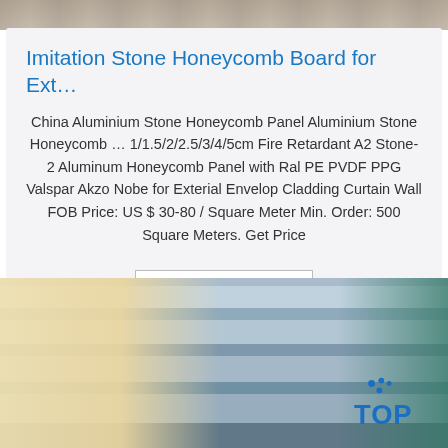[Figure (photo): Top strip of a stone/concrete textured surface photo]
Imitation Stone Honeycomb Board for Ext…
China Aluminium Stone Honeycomb Panel Aluminium Stone Honeycomb … 1/1.5/2/2.5/3/4/5cm Fire Retardant A2 Stone-2 Aluminum Honeycomb Panel with Ral PE PVDF PPG Valspar Akzo Nobe for Exterial Envelop Cladding Curtain Wall FOB Price: US $ 30-80 / Square Meter Min. Order: 500 Square Meters. Get Price
[Figure (other): Get Price button]
[Figure (photo): Photo of corrugated aluminum honeycomb panels stacked, with cream/wood packing on left and teal plastic wrap on right, with TOP logo overlay]